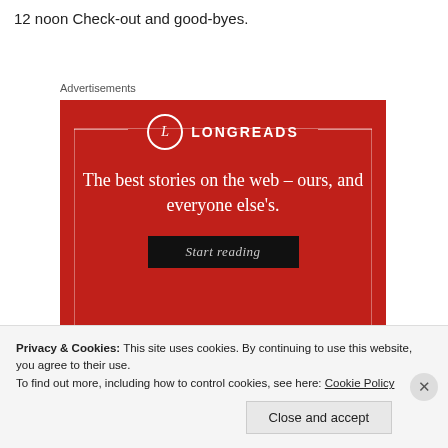12 noon Check-out and good-byes.
Advertisements
[Figure (advertisement): Longreads advertisement on a red background. Shows the Longreads logo (circle with L, text LONGREADS), tagline 'The best stories on the web – ours, and everyone else's.' and a dark 'Start reading' button.]
Privacy & Cookies: This site uses cookies. By continuing to use this website, you agree to their use.
To find out more, including how to control cookies, see here: Cookie Policy
Close and accept